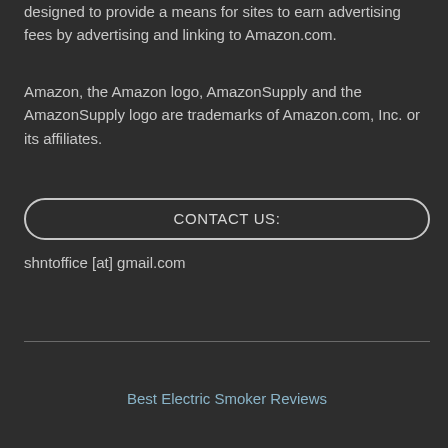designed to provide a means for sites to earn advertising fees by advertising and linking to Amazon.com.
Amazon, the Amazon logo, AmazonSupply and the AmazonSupply logo are trademarks of Amazon.com, Inc. or its affiliates.
CONTACT US:
shntoffice [at] gmail.com
Best Electric Smoker Reviews